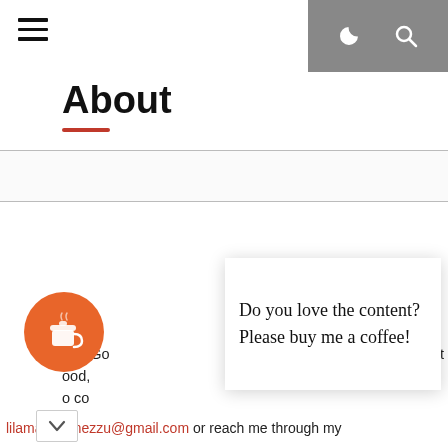≡  ☾  🔍
About
[Figure (photo): Broken/placeholder image with small thumbnail icon on left side, large empty white box with thin border]
Do you love the content? Please buy me a coffee!
MaeGo  bout
ood,  am
o co
lilamae.gomezzu@gmail.com or reach me through my